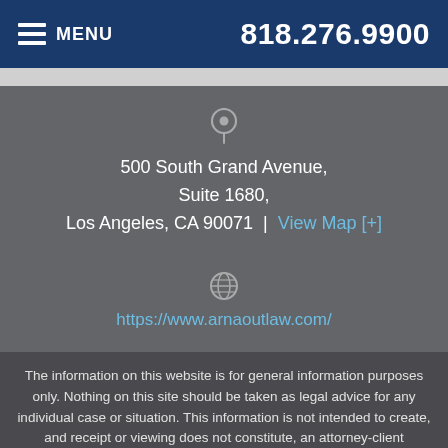MENU  818.276.9900
500 South Grand Avenue,
Suite 1680,
Los Angeles, CA 90071 |  View Map [+]
https://www.arnaoutlaw.com/
The information on this website is for general information purposes only. Nothing on this site should be taken as legal advice for any individual case or situation. This information is not intended to create, and receipt or viewing does not constitute, an attorney-client relationship.
© All Rights Reserved.